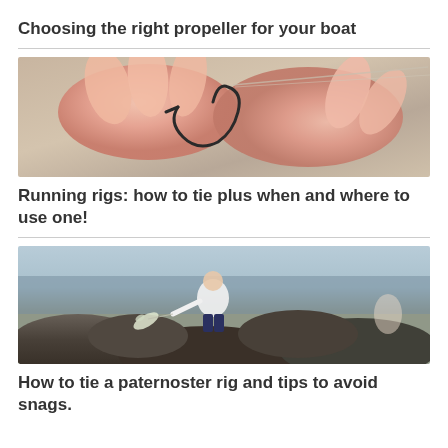Choosing the right propeller for your boat
[Figure (photo): Close-up of hands tying fishing line to a hook]
Running rigs: how to tie plus when and where to use one!
[Figure (photo): Person standing on rocks near water, fishing]
How to tie a paternoster rig and tips to avoid snags.